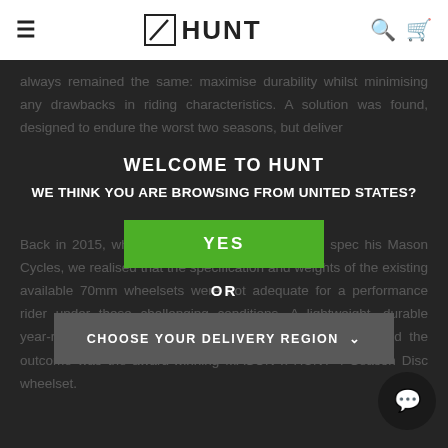HUNT (navigation bar with hamburger menu, HUNT logo, search and cart icons)
always remained the same: maximise durability whilst minimising any drawbacks in riding characteristics. A solution was found, designed to endure the worst two seasons, but deliver
WELCOME TO HUNT
WE THINK YOU ARE BROWSING FROM UNITED STATES?
YES
OR
CHOOSE YOUR DELIVERY REGION ∨
Back in 2015, whilst working with Dom Mason to spec his Mason Cycles, we realised that the specification and weights of the existing available 70... were not fitting... a performance... er conditions. A lightweight, durable year-round disc wheelset was one of our first projects, and the outcome was the award-winning MASON x HUNT 4 Season Disc wheelset.